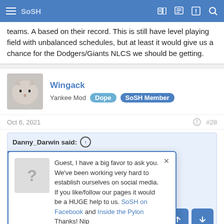SoSH navigation bar
teams. A based on their record. This is still have level playing field with unbalanced schedules, but at least it would give us a chance for the Dodgers/Giants NLCS we should be getting.
Wingack
Yankee Mod  Dope  SoSH Member
Oct 6, 2021  #28
Danny_Darwin said: ↑
Guest, I have a big favor to ask you. We've been working very hard to establish ourselves on social media. If you like/follow our pages it would be a HUGE help to us. SoSH on Facebook and Inside the Pylon Thanks! Nip
...e knock against long. It's not like g this forum there ar going back still in NY with NY fan, I think I'd
The Red Sox have always been good at letting go of players at the